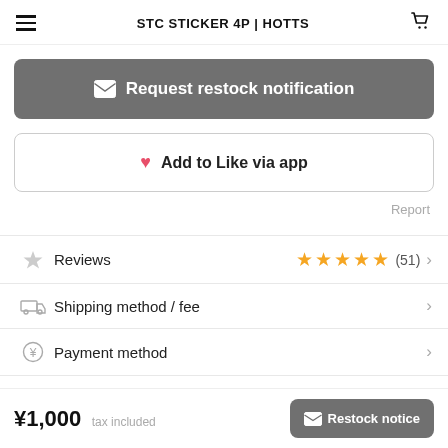STC STICKER 4P | HOTTS
Request restock notification
Add to Like via app
Report
Reviews (51)
Shipping method / fee
Payment method
¥1,000 tax included
Restock notice